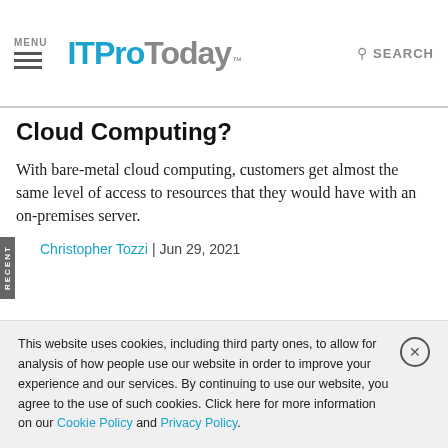MENU | ITProToday™ | SEARCH
Cloud Computing?
With bare-metal cloud computing, customers get almost the same level of access to resources that they would have with an on-premises server.
Christopher Tozzi | Jun 29, 2021
This website uses cookies, including third party ones, to allow for analysis of how people use our website in order to improve your experience and our services. By continuing to use our website, you agree to the use of such cookies. Click here for more information on our Cookie Policy and Privacy Policy.